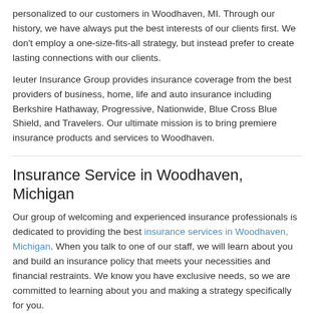personalized to our customers in Woodhaven, MI. Through our history, we have always put the best interests of our clients first. We don't employ a one-size-fits-all strategy, but instead prefer to create lasting connections with our clients.
Ieuter Insurance Group provides insurance coverage from the best providers of business, home, life and auto insurance including Berkshire Hathaway, Progressive, Nationwide, Blue Cross Blue Shield, and Travelers. Our ultimate mission is to bring premiere insurance products and services to Woodhaven.
Insurance Service in Woodhaven, Michigan
Our group of welcoming and experienced insurance professionals is dedicated to providing the best insurance services in Woodhaven, Michigan. When you talk to one of our staff, we will learn about you and build an insurance policy that meets your necessities and financial restraints. We know you have exclusive needs, so we are committed to learning about you and making a strategy specifically for you.